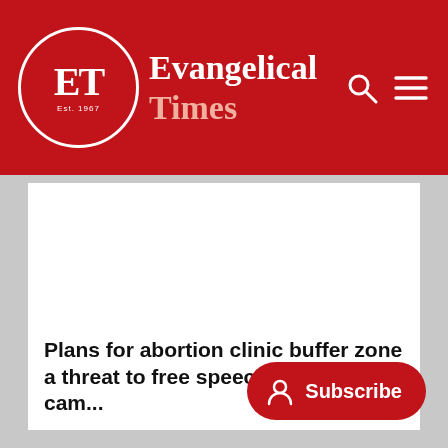Evangelical Times
[Figure (photo): Large white/blank image area below the header]
Plans for abortion clinic buffer threat to free speech, pro-life cam...